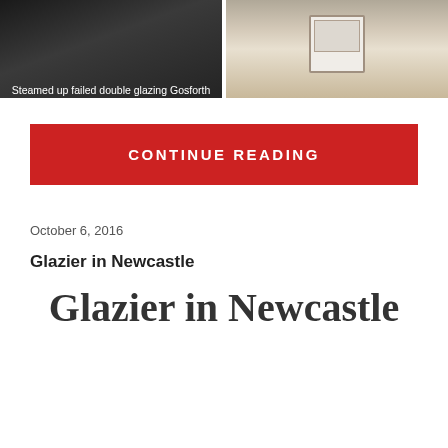[Figure (photo): Two side-by-side photos: left shows steamed up failed double glazing in Gosforth with dark window frames; right shows a white window or toilet fixture in a room.]
Steamed up failed double glazing Gosforth
CONTINUE READING
October 6, 2016
Glazier in Newcastle
Glazier in Newcastle